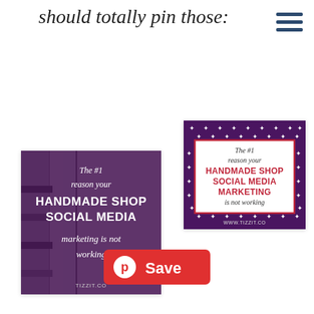should totally pin those:
[Figure (screenshot): Left Pinterest pin card: purple overlay on photo background with text 'The #1 reason your HANDMADE SHOP SOCIAL MEDIA marketing is not working' and url TIZZIT.CO]
[Figure (screenshot): Right Pinterest pin card: purple background with white stars border, white inner box with red border, text 'The #1 reason your HANDMADE SHOP SOCIAL MEDIA MARKETING is not working' and url WWW.TIZZIT.CO]
[Figure (other): Red Pinterest Save button with Pinterest logo icon and text 'Save']